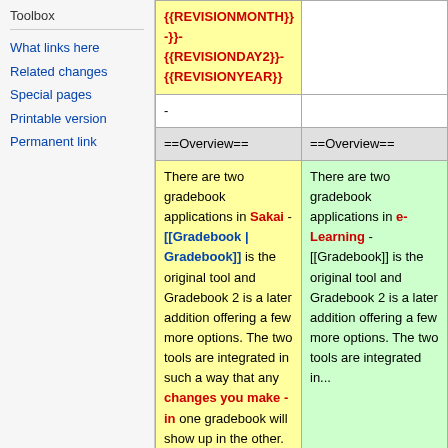Toolbox
What links here
Related changes
Special pages
Printable version
Permanent link
| (left diff col) | (right diff col) |
| --- | --- |
| {{REVISIONMONTH}}-}}-{{REVISIONDAY2}}-{{REVISIONYEAR}} |  |
| - |  |
| ==Overview== | ==Overview== |
| There are two gradebook applications in Sakai - [[Gradebook | Gradebook]] is the original tool and Gradebook 2 is a later addition offering a few more options. The two tools are integrated in such a way that any changes you make -in one gradebook will show up in the other. You do not need to ... | There are two gradebook applications in e-Learning - [[Gradebook]] is the original tool and Gradebook 2 is a later addition offering a few more options. The two tools are integrated in... |